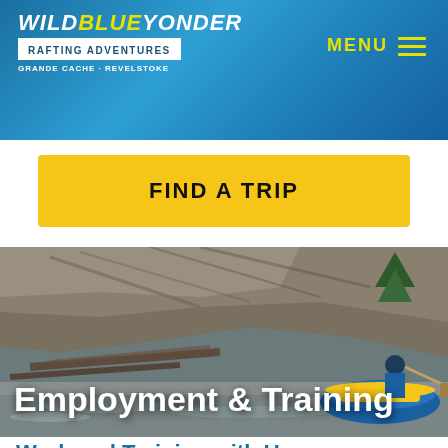Wild Blue Yonder Rafting Adventures - Grande Cache - Revelstoke | MENU
FIND A TRIP
[Figure (photo): Action photo of a white water rafting guide in a blue jacket paddling a blue and yellow raft through turbulent grey water, with a steep rocky cliff face and fallen logs in the background. Text overlay reads 'Employment & Training'.]
Work and Training with Us